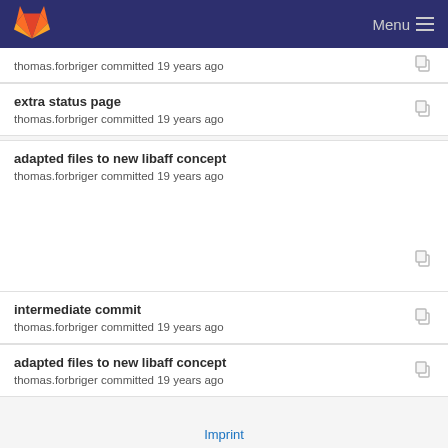GitLab logo | Menu
thomas.forbriger committed 19 years ago
extra status page
thomas.forbriger committed 19 years ago
adapted files to new libaff concept
thomas.forbriger committed 19 years ago
intermediate commit
thomas.forbriger committed 19 years ago
adapted files to new libaff concept
thomas.forbriger committed 19 years ago
Imprint